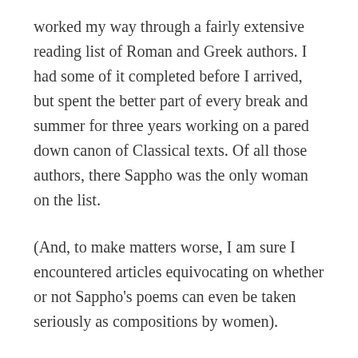worked my way through a fairly extensive reading list of Roman and Greek authors. I had some of it completed before I arrived, but spent the better part of every break and summer for three years working on a pared down canon of Classical texts. Of all those authors, there Sappho was the only woman on the list.
(And, to make matters worse, I am sure I encountered articles equivocating on whether or not Sappho's poems can even be taken seriously as compositions by women).
PhD comprehensive exams are not just about reading Latin and Greek: you also need to pass topic exams and literature exams. I read the Conte, the Pfeiffer; with my peers I made bibliographies